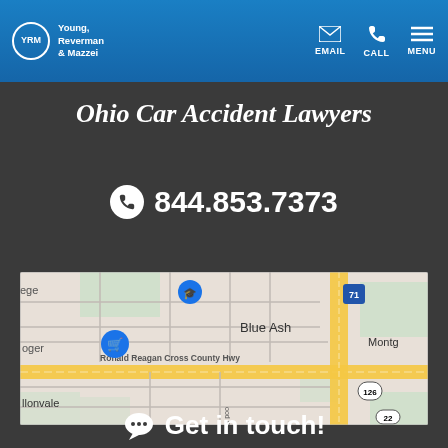Young, Reverman & Mazzei — EMAIL  CALL  MENU
Ohio Car Accident Lawyers
☎ 844.853.7373
[Figure (map): Google Maps showing Blue Ash, Ohio area with Ronald Reagan Cross County Hwy, route 71, route 126, route 22, Montgomey, Lonvale, and a Kroger location marker]
Get in touch!